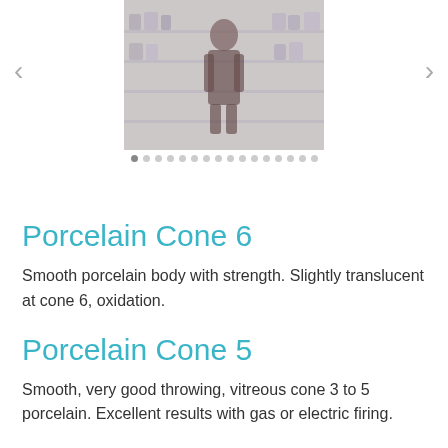[Figure (photo): Carousel image showing a person among shelves with ceramic or pottery products, navigation arrows on left and right, pagination dots below]
Porcelain Cone 6
Smooth porcelain body with strength. Slightly translucent at cone 6, oxidation.
Porcelain Cone 5
Smooth, very good throwing, vitreous cone 3 to 5 porcelain. Excellent results with gas or electric firing.
Nara 5